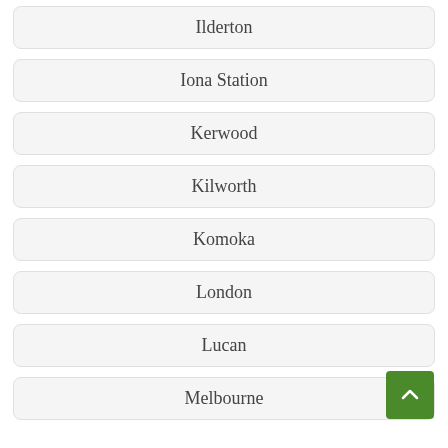Ilderton
Iona Station
Kerwood
Kilworth
Komoka
London
Lucan
Melbourne